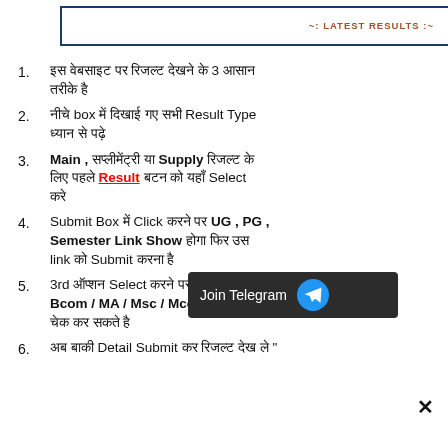~: LATEST RESULTS :~
इस वेबसाइट पर रिजल्ट देखने के 3 आसान तरीके है
नीचे box में दिखाई गए सभी Result Type ध्यान से पढ़े
Main , सप्लीमेंट्री या Supply रिजल्ट के लिए पहले Result बटन को यहाँ Select करे
Submit Box में Click करने पर UG , PG , Semester Link Show होगा फिर उस link को Submit करना है
3rd ऑप्शन Select करने पर BA / Bsc / Bcom / MA / Msc / Mcom का रिजल्ट चेक कर सकते है
अब बाकी Detail Submit कर रिजल्ट देख ले